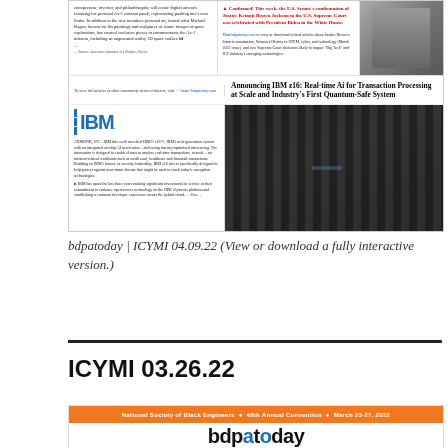[Figure (screenshot): Screenshot of bdpatoday newsletter ICYMI 04.09.22 showing IBM z16 announcement with IBM logo, server room photo, Supreme Court confirmation news, and related articles.]
bdpatoday | ICYMI 04.09.22 (View or download a fully interactive version.)
ICYMI 03.26.22
[Figure (screenshot): Bottom portion of bdpatoday newsletter for ICYMI 03.26.22 showing orange bar with National Society of Black Engineers 48th Annual Convention March 23-27, 2022 and bdpatoday logo.]